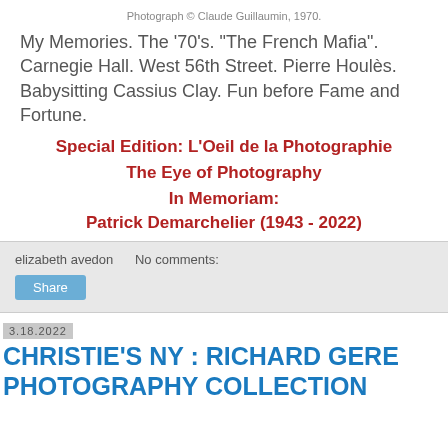Photograph © Claude Guillaumin, 1970.
My Memories. The '70's. "The French Mafia". Carnegie Hall. West 56th Street. Pierre Houlès. Babysitting Cassius Clay. Fun before Fame and Fortune.
Special Edition: L'Oeil de la Photographie
The Eye of Photography
In Memoriam:
Patrick Demarchelier (1943 - 2022)
elizabeth avedon    No comments:
Share
3.18.2022
CHRISTIE'S NY : RICHARD GERE PHOTOGRAPHY COLLECTION